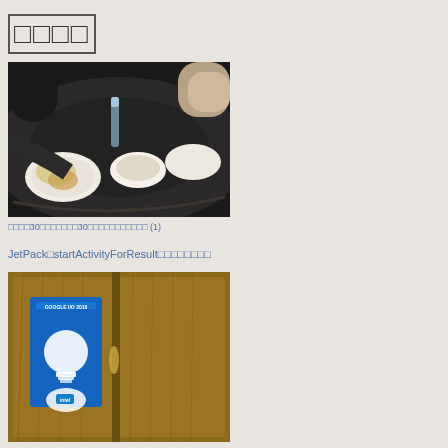□□□□
[Figure (photo): People dining at a round table with various dishes, viewed from above]
□□□□30□□□□□□□30□□□□□□□□□□□ (1)
JetPack□startActivityForResult□□□□□□□□
[Figure (photo): Wooden door with a blue Google I/O 2018 poster featuring a light bulb design]